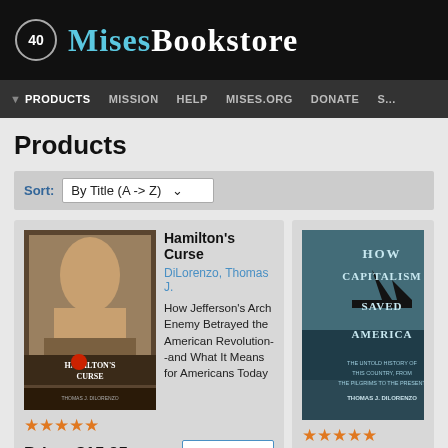[Figure (logo): Mises Bookstore logo with shield icon and stylized text]
PRODUCTS  MISSION  HELP  MISES.ORG  DONATE  S...
Products
Sort: By Title (A -> Z)
[Figure (photo): Book cover: Hamilton's Curse by Thomas J. DiLorenzo]
Hamilton's Curse
DiLorenzo, Thomas J.
How Jefferson's Arch Enemy Betrayed the American Revolution--and What It Means for Americans Today
★★★★½
Price: $15.95
+ Add to Cart
[Figure (photo): Book cover: How Capitalism Saved America by Thomas J. DiLorenzo]
★★★★½
Price: $14.95